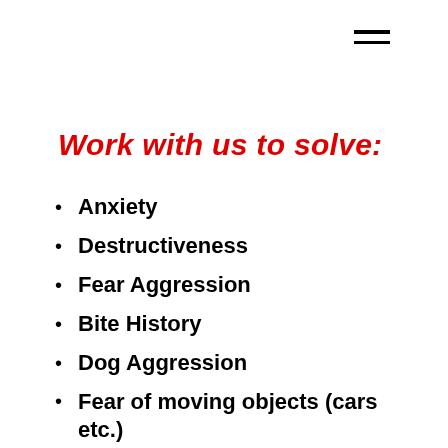Work with us to solve:
Anxiety
Destructiveness
Fear Aggression
Bite History
Dog Aggression
Fear of moving objects (cars etc.)
Jumping on people
Excessive barking